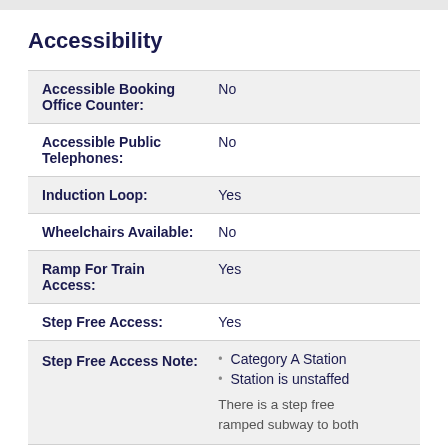Accessibility
| Feature | Value |
| --- | --- |
| Accessible Booking Office Counter: | No |
| Accessible Public Telephones: | No |
| Induction Loop: | Yes |
| Wheelchairs Available: | No |
| Ramp For Train Access: | Yes |
| Step Free Access: | Yes |
| Step Free Access Note: | Category A Station
Station is unstaffed

There is a step free ramped subway to both |